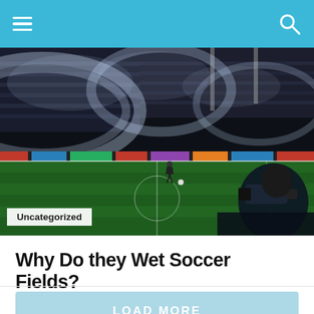[Figure (photo): Soccer field at night with stadium sprinklers spraying water in large arcs over the pitch. A lone player stands on the green grass under bright floodlights. A TV camera operator is visible in the foreground right. Stadium stands filled with spectators in the background. Advertising boards run along the edge of the pitch.]
Uncategorized
Why Do they Wet Soccer Fields?
LOAD MORE